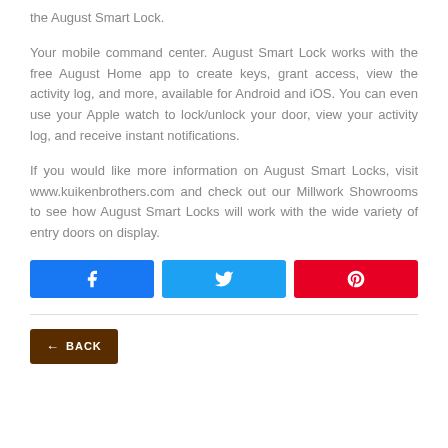the August Smart Lock.
Your mobile command center. August Smart Lock works with the free August Home app to create keys, grant access, view the activity log, and more, available for Android and iOS. You can even use your Apple watch to lock/unlock your door, view your activity log, and receive instant notifications.
If you would like more information on August Smart Locks, visit www.kuikenbrothers.com and check out our Millwork Showrooms to see how August Smart Locks will work with the wide variety of entry doors on display.
[Figure (infographic): Three social share buttons: Facebook (blue), Twitter (cyan), Pinterest (red) each with their respective icons]
← BACK